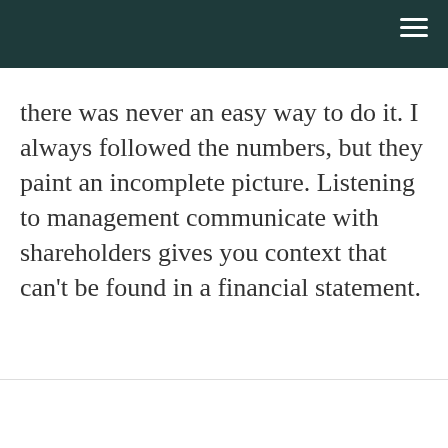there was never an easy way to do it. I always followed the numbers, but they paint an incomplete picture. Listening to management communicate with shareholders gives you context that can't be found in a financial statement.